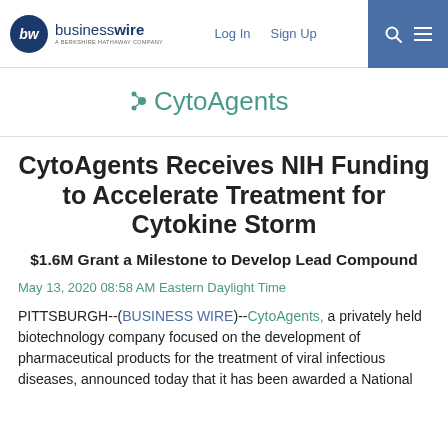businesswire — A BERKSHIRE HATHAWAY COMPANY | Log In | Sign Up
[Figure (logo): CytoAgents company logo with teal dot-molecule icon and teal text]
CytoAgents Receives NIH Funding to Accelerate Treatment for Cytokine Storm
$1.6M Grant a Milestone to Develop Lead Compound
May 13, 2020 08:58 AM Eastern Daylight Time
PITTSBURGH--(BUSINESS WIRE)--CytoAgents, a privately held biotechnology company focused on the development of pharmaceutical products for the treatment of viral infectious diseases, announced today that it has been awarded a National